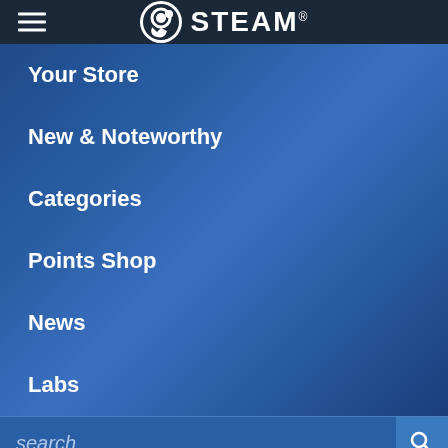STEAM
Your Store
New & Noteworthy
Categories
Points Shop
News
Labs
search
[Figure (screenshot): Black and white game art for Highlands showing a hooded figure with glowing white eyes against a dark textured background with the text HIGHLANDS, at the top]